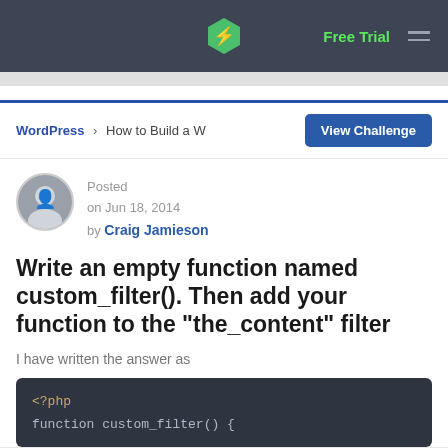Free Trial
WordPress > How to Build a W
Posted on Jun 18, 2014 by Craig Jamieson
Write an empty function named custom_filter(). Then add your function to the "the_content" filter
I have written the answer as
[Figure (screenshot): Code block showing PHP code: <?php and function custom_filter() {]